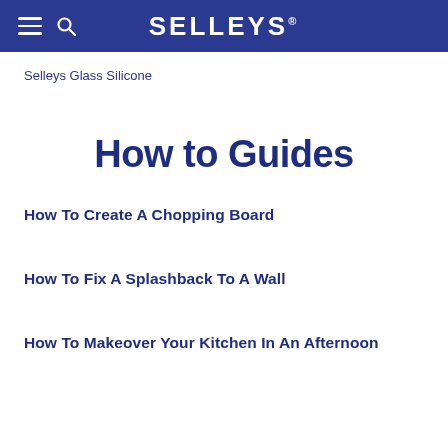SELLEYS
Selleys Glass Silicone
How to Guides
How To Create A Chopping Board
How To Fix A Splashback To A Wall
How To Makeover Your Kitchen In An Afternoon